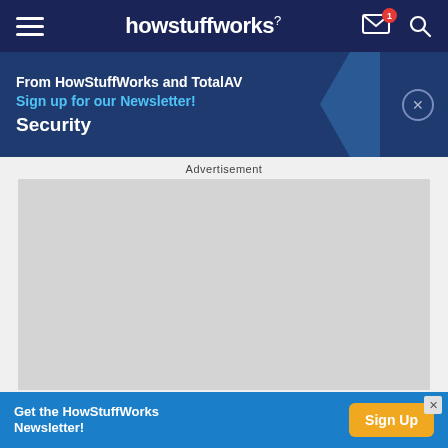howstuffworks
From HowStuffWorks and TotalAV Security
Sign up for our Newsletter!
Advertisement
[Figure (other): Grey advertisement placeholder box]
Get the HowStuffWorks Newsletter!  Sign Up